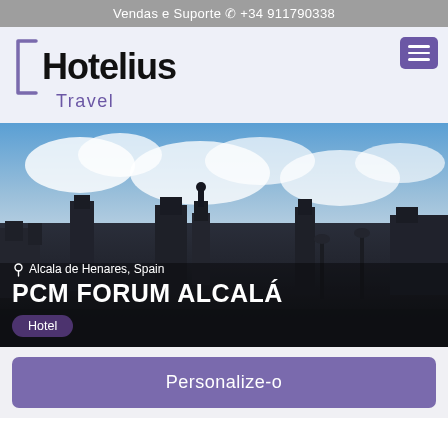Vendas e Suporte ☎ +34 911790338
[Figure (logo): Hotelius Travel logo with purple bracket and text]
[Figure (photo): Panoramic view of Alcala de Henares, Spain, showing historic buildings and a central monument statue against a cloudy blue sky. Dark silhouette style.]
Alcala de Henares, Spain
PCM FORUM ALCALÁ
Hotel
Personalize-o